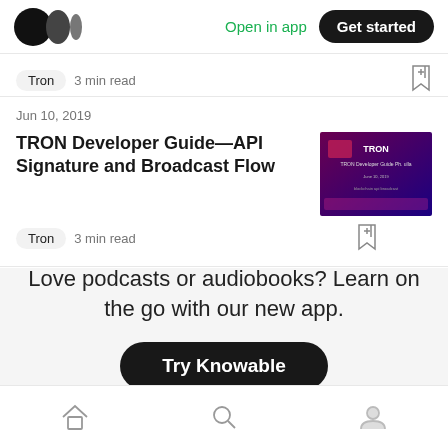[Figure (logo): Medium logo (three overlapping circles)]
Open in app
Get started
Tron  3 min read
Jun 10, 2019
TRON Developer Guide—API Signature and Broadcast Flow
[Figure (photo): Thumbnail image for TRON Developer Guide article – dark purple/red background with TRON logo and developer text]
Tron  3 min read
Love podcasts or audiobooks? Learn on the go with our new app.
Try Knowable
[Figure (other): Bottom navigation bar with home, search, and profile icons]